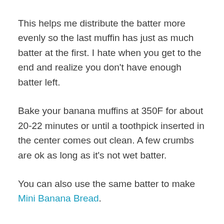This helps me distribute the batter more evenly so the last muffin has just as much batter at the first. I hate when you get to the end and realize you don't have enough batter left.
Bake your banana muffins at 350F for about 20-22 minutes or until a toothpick inserted in the center comes out clean. A few crumbs are ok as long as it's not wet batter.
You can also use the same batter to make Mini Banana Bread.